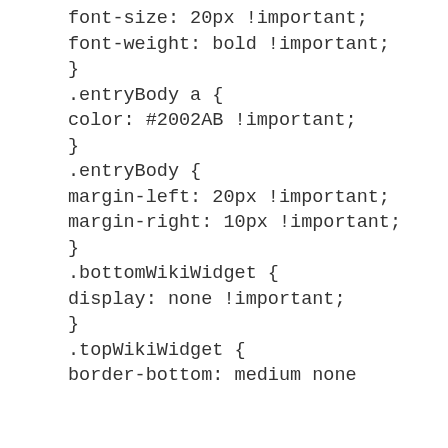font-size: 20px !important;
font-weight: bold !important;
}
.entryBody a {
color: #2002AB !important;
}
.entryBody {
margin-left: 20px !important;
margin-right: 10px !important;
}
.bottomWikiWidget {
display: none !important;
}
.topWikiWidget {
border-bottom: medium none